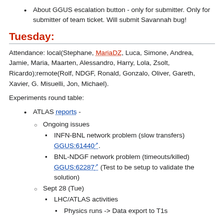About GGUS escalation button - only for submitter. Only for submitter of team ticket. Will submit Savannah bug!
Tuesday:
Attendance: local(Stephane, MariaDZ, Luca, Simone, Andrea, Jamie, Maria, Maarten, Alessandro, Harry, Lola, Zsolt, Ricardo);remote(Rolf, NDGF, Ronald, Gonzalo, Oliver, Gareth, Xavier, G. Misuelli, Jon, Michael).
Experiments round table:
ATLAS reports -
Ongoing issues
INFN-BNL network problem (slow transfers) GGUS:61440.
BNL-NDGF network problem (timeouts/killed) GGUS:62287 (Test to be setup to validate the solution)
Sept 28 (Tue)
LHC/ATLAS activities
Physics runs -> Data export to T1s